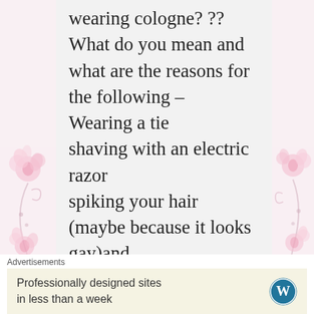wearing cologne? ?? What do you mean and what are the reasons for the following – Wearing a tie shaving with an electric razor spiking your hair (maybe because it looks gay)and Wearing deep v- neck
★ Like
Advertisements
Professionally designed sites in less than a week